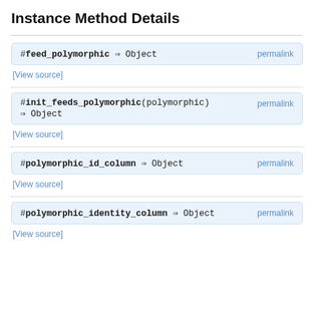Instance Method Details
#feed_polymorphic ⇒ Object permalink
[View source]
#init_feeds_polymorphic(polymorphic) ⇒ Object permalink
[View source]
#polymorphic_id_column ⇒ Object permalink
[View source]
#polymorphic_identity_column ⇒ Object permalink
[View source]